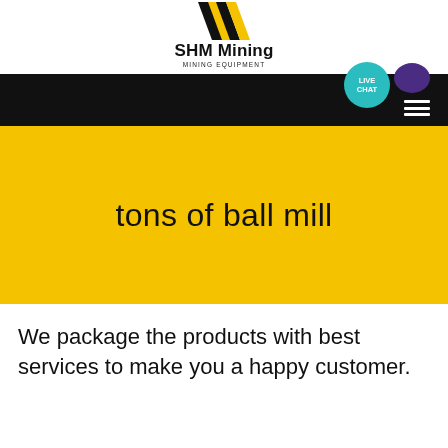[Figure (logo): SHM Mining logo with yellow/black chevron icon, bold text 'SHM Mining' and subtitle 'MINING EQUIPMENT']
tons of ball mill
We package the products with best services to make you a happy customer.